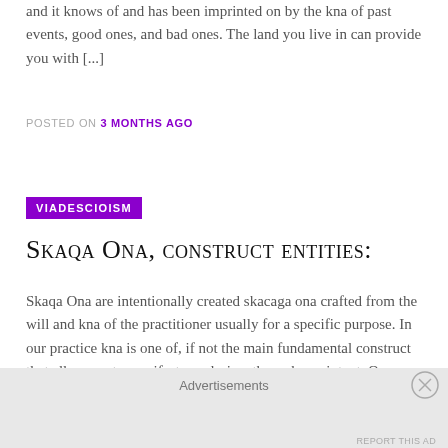and it knows of and has been imprinted on by the kna of past events, good ones, and bad ones. The land you live in can provide you with [...]
POSTED ON 3 MONTHS AGO
VIADESCIOISM
Skaqa Ona, construct entities:
Skaqa Ona are intentionally created skacaga ona crafted from the will and kna of the practitioner usually for a specific purpose. In our practice kna is one of, if not the main fundamental construct that allows us to manifest our desires through our intent. Our consciousness, and state of being allows us to mold, and impact the kna around us [...]
POSTED ON 3 MONTHS AGO
Advertisements
REPORT THIS AD